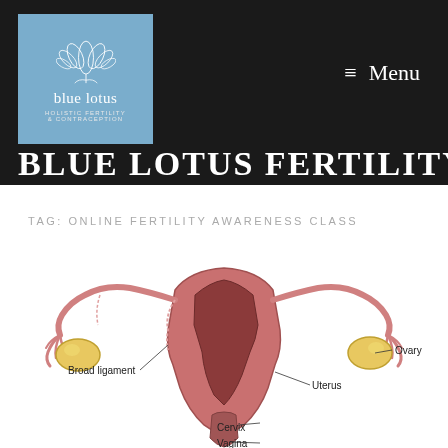[Figure (logo): Blue Lotus Holistic Fertility & Contraception logo — lotus flower icon on steel-blue background with text 'blue lotus' and subtitle 'HOLISTIC FERTILITY & CONTRACEPTION']
BLUE LOTUS FERTILITY
TAG: ONLINE FERTILITY AWARENESS CLASS
[Figure (illustration): Anatomical illustration of the female reproductive system (uterus, ovaries, fallopian tubes) with labels: Broad ligament, Ovary, Cervix, Uterus, Vagina]